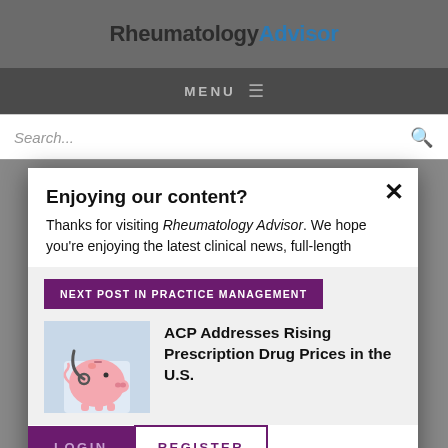RheumatologyAdvisor
MENU
Search...
Enjoying our content?
Thanks for visiting Rheumatology Advisor. We hope you're enjoying the latest clinical news, full-length
NEXT POST IN PRACTICE MANAGEMENT
[Figure (photo): Photo of a pink piggy bank with a stethoscope]
ACP Addresses Rising Prescription Drug Prices in the U.S.
LOGIN
REGISTER